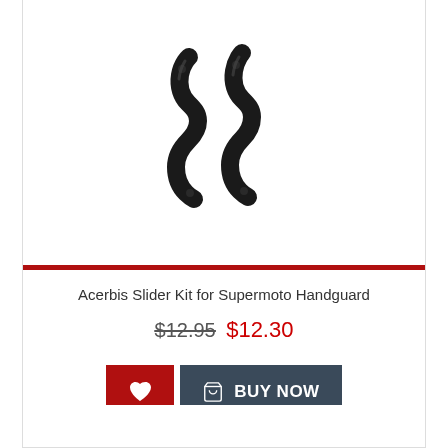[Figure (photo): Two black S-shaped Acerbis slider brackets/handguard sliders for supermoto, shown side by side on white background]
Acerbis Slider Kit for Supermoto Handguard
$12.95 $12.30
[Figure (other): Wishlist heart button (red) and BUY NOW cart button (dark grey)]